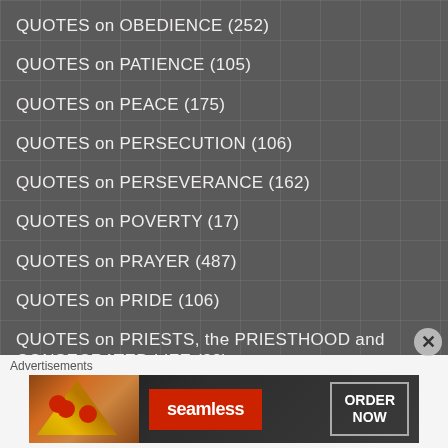QUOTES on OBEDIENCE (252)
QUOTES on PATIENCE (105)
QUOTES on PEACE (175)
QUOTES on PERSECUTION (106)
QUOTES on PERSEVERANCE (162)
QUOTES on POVERTY (17)
QUOTES on PRAYER (487)
QUOTES on PRIDE (106)
QUOTES on PRIESTS, the PRIESTHOOD and CONSECRATED LIFE (23)
QUOTES on PURITY (43)
Advertisements
[Figure (infographic): Seamless food delivery advertisement banner with pizza image, Seamless red logo, and ORDER NOW button]